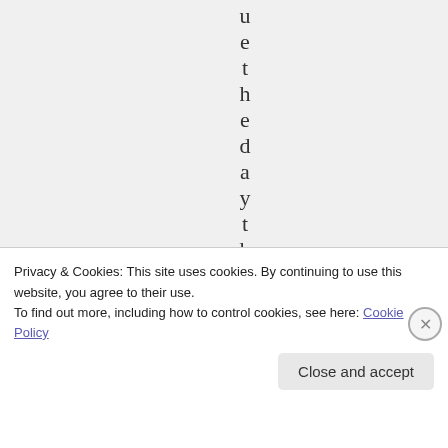u e t h e d a y t h e
Privacy & Cookies: This site uses cookies. By continuing to use this website, you agree to their use.
To find out more, including how to control cookies, see here: Cookie Policy
Close and accept